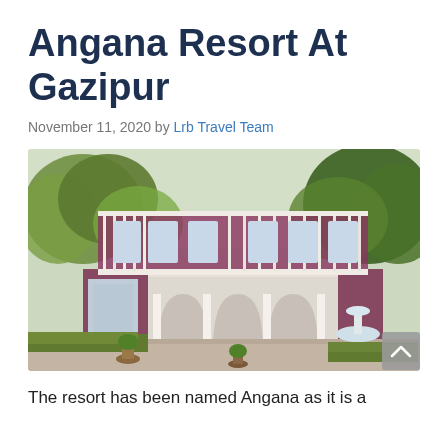Angana Resort At Gazipur
November 11, 2020 by Lrb Travel Team
[Figure (photo): Exterior photo of Angana Resort at Gazipur showing a two-story colonial-style building with purple/maroon brick facade, white balconies and arched columns, surrounded by trees and gardens with a fountain visible on the right side.]
The resort has been named Angana as it is a